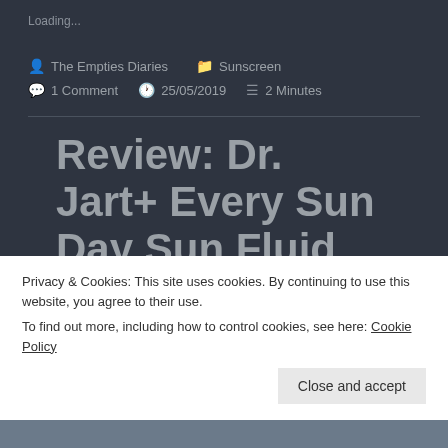Loading...
The Empties Diaries   Sunscreen
1 Comment   25/05/2019   2 Minutes
Review: Dr. Jart+ Every Sun Day Sun Fluid SPF50+/PA+++
Privacy & Cookies: This site uses cookies. By continuing to use this website, you agree to their use.
To find out more, including how to control cookies, see here: Cookie Policy
Close and accept